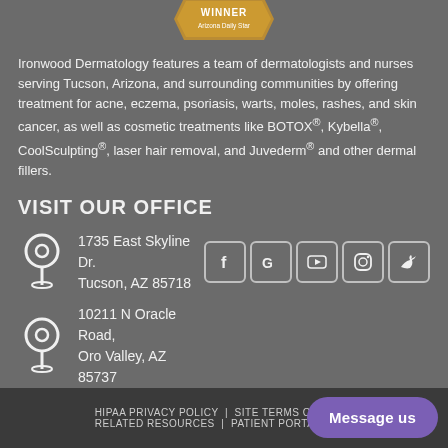[Figure (logo): Winner badge for Arizona Daily Star award at top of page]
Ironwood Dermatology features a team of dermatologists and nurses serving Tucson, Arizona, and surrounding communities by offering treatment for acne, eczema, psoriasis, warts, moles, rashes, and skin cancer, as well as cosmetic treatments like BOTOX®, Kybella®, CoolSculpting®, laser hair removal, and Juvederm® and other dermal fillers.
VISIT OUR OFFICE
1735 East Skyline Dr.
Tucson, AZ 85718
10211 N Oracle Road,
Oro Valley, AZ 85737
[Figure (infographic): Social media icons: Facebook, Google, YouTube, Instagram, Twitter]
2017-2020 COPYRIGHT IRONWOOD DERMATOLOGY | ALL RIGHTS RESERVED.
Website design and SEO promotion by MetaMed Marketing
HIPAA PRIVACY POLICY | SITE TERMS OF USE & RELATED RESOURCES | PATIENT PORTAL | S...